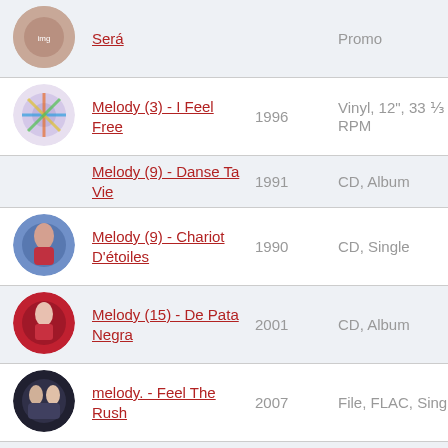| Image | Title | Year | Format |
| --- | --- | --- | --- |
| [album art] | Será |  | Promo |
| [album art] | Melody (3) - I Feel Free | 1996 | Vinyl, 12", 33 ⅓ RPM |
|  | Melody (9) - Danse Ta Vie | 1991 | CD, Album |
| [album art] | Melody (9) - Chariot D'étoiles | 1990 | CD, Single |
| [album art] | Melody (15) - De Pata Negra | 2001 | CD, Album |
| [album art] | melody. - Feel The Rush | 2007 | File, FLAC, Single |
| [album art] | Melody (15) - | 2004 | CD, Maxi- |